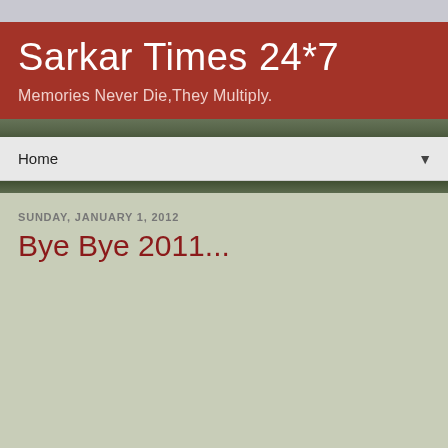Sarkar Times 24*7
Memories Never Die,They Multiply.
Home
SUNDAY, JANUARY 1, 2012
Bye Bye 2011...